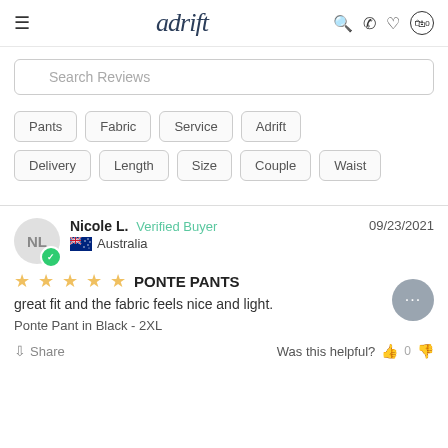adrift
Search Reviews
Pants
Fabric
Service
Adrift
Delivery
Length
Size
Couple
Waist
Nicole L. Verified Buyer 09/23/2021 Australia
PONTE PANTS
great fit and the fabric feels nice and light.
Ponte Pant in Black - 2XL
Share Was this helpful? 0